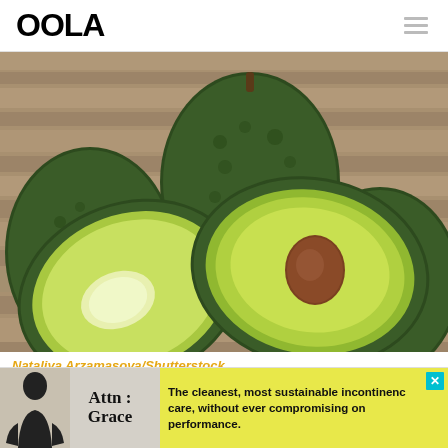OOLA
[Figure (photo): Several avocados on a wooden surface — two halved showing the green flesh and brown pit, and two whole dark green avocados]
Nataliya Arzamasova/Shutterstock
The cleanest, most sustainable incontinence care, without ever compromising on performance.